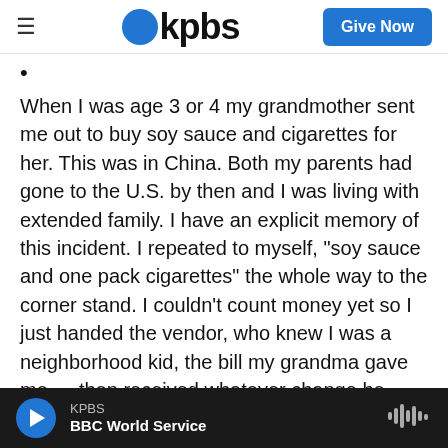kpbs | Give Now
·
When I was age 3 or 4 my grandmother sent me out to buy soy sauce and cigarettes for her. This was in China. Both my parents had gone to the U.S. by then and I was living with extended family. I have an explicit memory of this incident. I repeated to myself, "soy sauce and one pack cigarettes" the whole way to the corner stand. I couldn't count money yet so I just handed the vendor, who knew I was a neighborhood kid, the bill my grandma gave me — then received whatever change he gave back and hoped it was correct. I brought the change, the soy sauce, and the pack of cigarettes back to my...
KPBS | BBC World Service